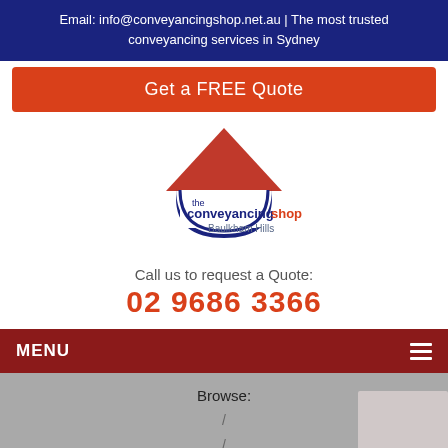Email: info@conveyancingshop.net.au | The most trusted conveyancing services in Sydney
Get a FREE Quote
[Figure (logo): The Conveyancing Shop Baulkham Hills logo — a house shape in red with dark blue text]
Call us to request a Quote:
02 9686 3366
MENU
Browse:
/
/